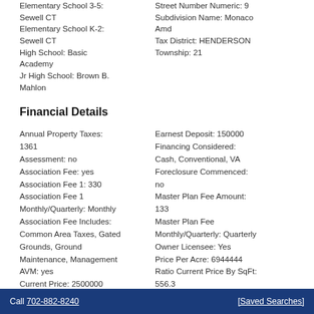Elementary School 3-5: Sewell CT
Elementary School K-2: Sewell CT
High School: Basic Academy
Jr High School: Brown B. Mahlon
Street Number Numeric: 9
Subdivision Name: Monaco Amd
Tax District: HENDERSON
Township: 21
Financial Details
Annual Property Taxes: 1361
Assessment: no
Association Fee: yes
Association Fee 1: 330
Association Fee 1 Monthly/Quarterly: Monthly
Association Fee Includes: Common Area Taxes, Gated Grounds, Ground Maintenance, Management
AVM: yes
Current Price: 2500000
Earnest Deposit: 150000
Financing Considered: Cash, Conventional, VA
Foreclosure Commenced: no
Master Plan Fee Amount: 133
Master Plan Fee Monthly/Quarterly: Quarterly
Owner Licensee: Yes
Price Per Acre: 6944444
Ratio Current Price By SqFt: 556.3
Reposession/REO: no
Short Sale: no
CID/LIP:
Call 702-882-8240    [Saved Searches]